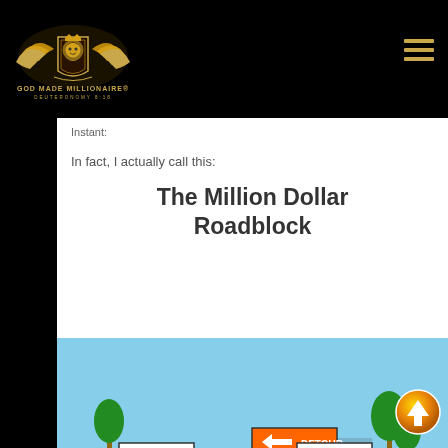[Figure (logo): God Made Millionaire gold winged lion crest logo with text GOD MADE MILLIONAIRE DEUTERONOMY 8:18]
Instant:
In fact, I actually call this:
The Million Dollar Roadblock
[Figure (photo): Photo of road closed signs with orange and white barricades and a detour sign on a sunny street with palm trees]